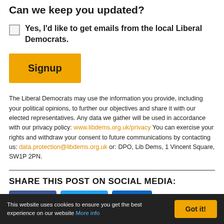Can we keep you updated?
Yes, I'd like to get emails from the local Liberal Democrats.
Signup
The Liberal Democrats may use the information you provide, including your political opinions, to further our objectives and share it with our elected representatives. Any data we gather will be used in accordance with our privacy policy: www.libdems.org.uk/privacy You can exercise your rights and withdraw your consent to future communications by contacting us: data.protection@libdems.org.uk or: DPO, Lib Dems, 1 Vincent Square, SW1P 2PN.
SHARE THIS POST ON SOCIAL MEDIA:
This website uses cookies to ensure you get the best experience on our website More info